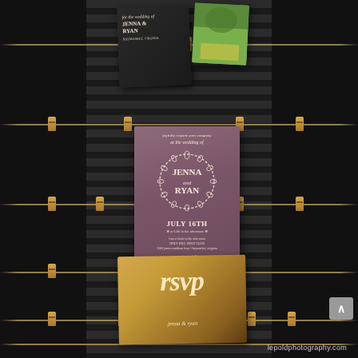[Figure (photo): Wedding stationery displayed on dark slatted boards with twine strings and wooden clothespins. Center: dusty rose/mauve wedding invitation for Jenna and Ryan with floral wreath design, dated July 16th. Top: dark chalkboard-style invitation card and a photo card. Bottom: kraft paper RSV card with calligraphy script. Watermark reads lepoldphotography.com.]